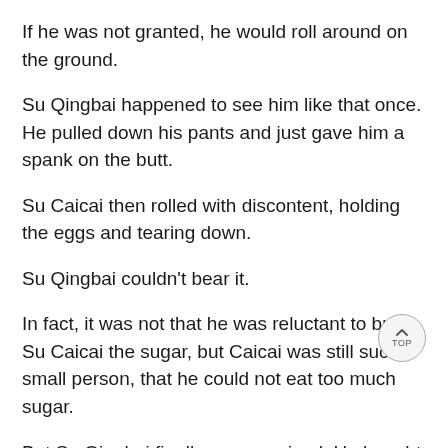If he was not granted, he would roll around on the ground.
Su Qingbai happened to see him like that once. He pulled down his pants and just gave him a spank on the butt.
Su Caicai then rolled with discontent, holding the eggs and tearing down.
Su Qingbai couldn't bear it.
In fact, it was not that he was reluctant to buy Su Caicai the sugar, but Caicai was still such a small person, that he could not eat too much sugar.
But Su Qingbai finally compromised. He bought a small bag of sugar and decided that he would give Su Caicai put a little in it for dinner in the future.
“Da~” upon seeing Su Qingbai, Su Caicai, who was placed at the door, shouted at his Dad.
Su Qingbai was overwhelmed by the flattery and honor that